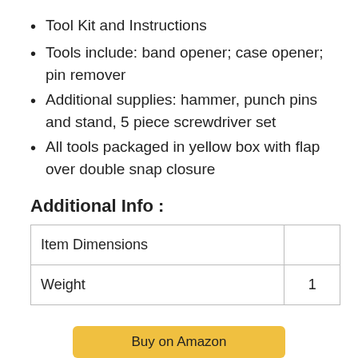Tool Kit and Instructions
Tools include: band opener; case opener; pin remover
Additional supplies: hammer, punch pins and stand, 5 piece screwdriver set
All tools packaged in yellow box with flap over double snap closure
Additional Info :
|  |  |
| --- | --- |
| Item Dimensions |  |
| Weight | 1 |
Buy on Amazon